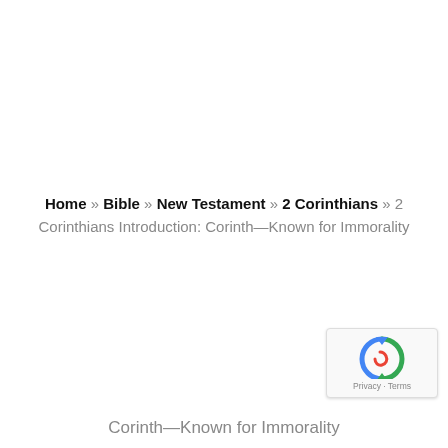Home » Bible » New Testament » 2 Corinthians » 2 Corinthians Introduction: Corinth—Known for Immorality
Corinth—Known for Immorality